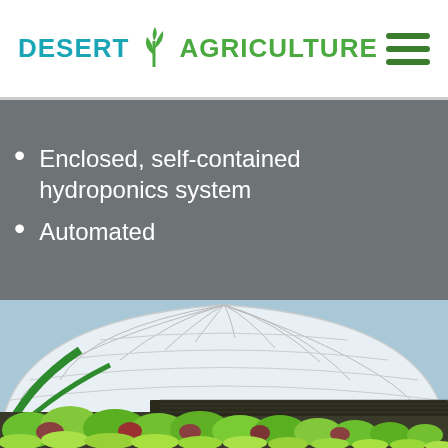DESERT AGRICULTURE
Enclosed, self-contained hydroponics system
Automated
[Figure (photo): Interior of a large greenhouse tunnel with arched transparent roof panels, rows of green leafy plants (lettuce) growing in hydroponic channels, and dark growing trays in the background.]